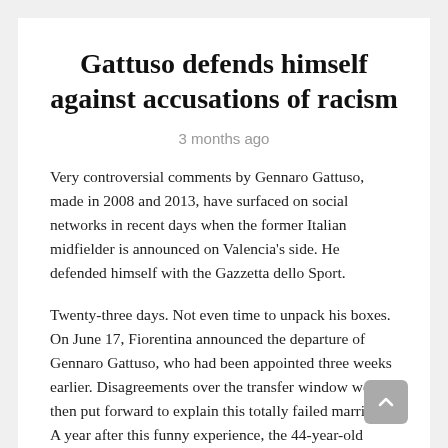Gattuso defends himself against accusations of racism
3 months ago
Very controversial comments by Gennaro Gattuso, made in 2008 and 2013, have surfaced on social networks in recent days when the former Italian midfielder is announced on Valencia's side. He defended himself with the Gazzetta dello Sport.
Twenty-three days. Not even time to unpack his boxes. On June 17, Fiorentina announced the departure of Gennaro Gattuso, who had been appointed three weeks earlier. Disagreements over the transfer window were then put forward to explain this totally failed marriage. A year after this funny experience, the 44-year-old Calabrian is on his way to find a bench. According to the Spanish media, everything indicates that Valencia has chosen him to